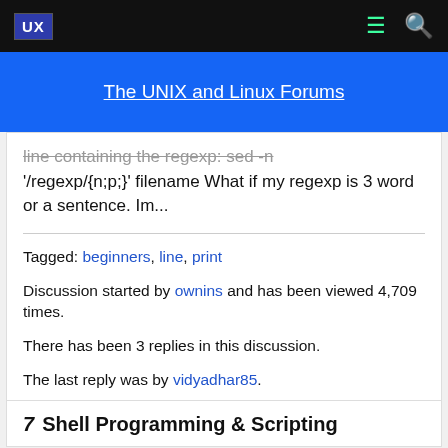UX | The UNIX and Linux Forums
line containing the regexp: sed -n '/regexp/{n;p;}' filename What if my regexp is 3 word or a sentence. Im...
Tagged: beginners, line, print
Discussion started by ownins and has been viewed 4,709 times.
There has been 3 replies in this discussion.
The last reply was by vidyadhar85.
7 Shell Programming & Scripting